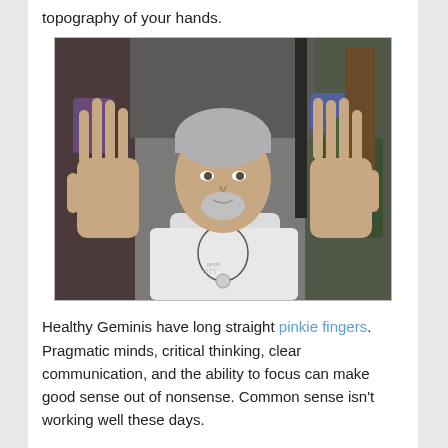topography of your hands.
[Figure (photo): A middle-aged man with gray hair and a goatee, wearing a white t-shirt and a necklace, holding both hands up with palms facing the camera, showing all ten fingers. He is seated indoors with plants and a window visible in the background.]
Healthy Geminis have long straight pinkie fingers. Pragmatic minds, critical thinking, clear communication, and the ability to focus can make good sense out of nonsense. Common sense isn't working well these days.
Gemini has firm pink elastic skin and long fingers with